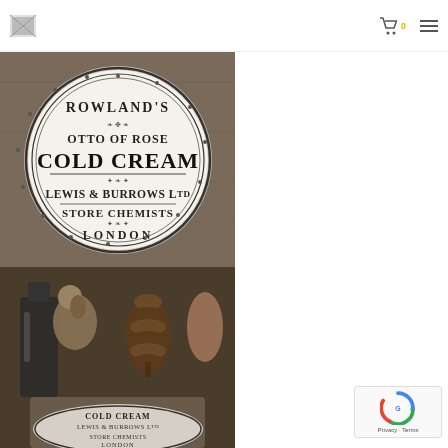Logo, cart icon with badge 0, hamburger menu
[Figure (photo): Close-up of a vintage circular tin lid for Rowland's Otto of Rose Cold Cream, manufactured by Lewis & Burrows Ltd, Store Chemists, London. White ceramic lid with decorative black printed text on brown/gray background.]
[Figure (photo): Close-up of antique/vintage bottles and decorative items with a pine cone visible. A small circular Cold Cream tin lid from Lewis & Burrows Ltd, Store Chemists, London is partially visible at the bottom of the image.]
[Figure (other): reCAPTCHA verification widget showing Google reCAPTCHA logo with Privacy and Terms links]